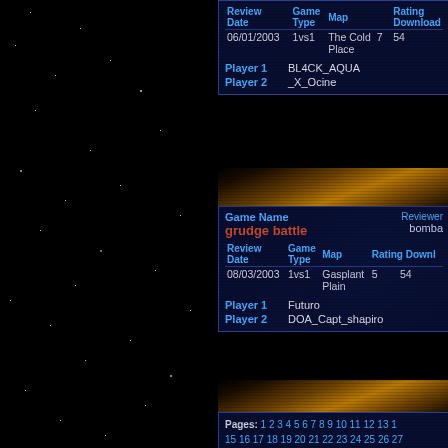| Review Date | Game Type | Map | Rating | Download |
| --- | --- | --- | --- | --- |
| 06/01/2003 | 1vs1 | The Cold Place | 7 | 54 |
Player 1: BL4CK_AQUA
Player 2: _X_Ocine
| Game Name |  | Reviewer |
| --- | --- | --- |
| grudge battle |  | bomba |
| Review Date | Game Type | Map | Rating | Download |
| --- | --- | --- | --- | --- |
| 08/03/2003 | 1vs1 | Gasplant Plain | 5 | 54 |
Player 1: Futuro
Player 2: DOA_Capt_shapiro
Pages: 1 2 3 4 5 6 7 8 9 10 11 12 13 1 15 16 17 18 19 20 21 22 23 24 25 26 27 29 30 31 32 33 34 35 36 37 38 39 40 41 43 44 45 46 47 48 49 50 51 52 53 54 55 57 58 59 60 61 62 63 64 65 66 67 68 69 71 72 73 74 75 76 77 78 79